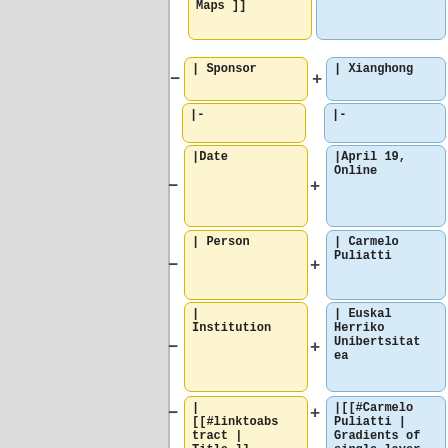[Figure (flowchart): A wiki/markup editor interface showing pairs of yellow (key/field name) and blue (value) boxes connected by minus and plus buttons, representing editable structured data rows. Fields shown: Maps, Sponsor/Xianghong, separator lines, Date/April 19 Online, Person/Carmelo Puliatti, Institution/Euskal Herriko Unibertsitatea, linktoabstract Title / Carmelo Puliatti Gradients of single layer potentials for elliptic operators]